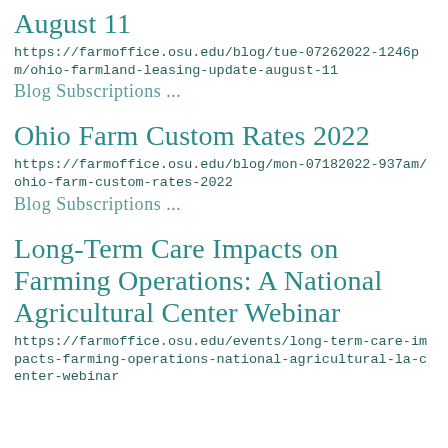August 11
https://farmoffice.osu.edu/blog/tue-07262022-1246pm/ohio-farmland-leasing-update-august-11
Blog Subscriptions ...
Ohio Farm Custom Rates 2022
https://farmoffice.osu.edu/blog/mon-07182022-937am/ohio-farm-custom-rates-2022
Blog Subscriptions ...
Long-Term Care Impacts on Farming Operations: A National Agricultural Center Webinar
https://farmoffice.osu.edu/events/long-term-care-impacts-farming-operations-national-agricultural-la-center-webinar